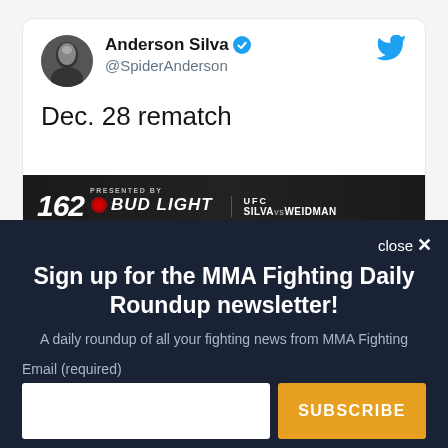[Figure (screenshot): Twitter/X post by Anderson Silva (@SpiderAnderson) with verified badge, showing tweet text 'Dec. 28 rematch' and a UFC 162 event banner image showing Silva vs Weidman]
Sign up for the MMA Fighting Daily Roundup newsletter!
A daily roundup of all your fighting news from MMA Fighting
Email (required)
SUBSCRIBE
By submitting your email, you agree to our Terms and Privacy Notice. You can opt out at any time. This site is protected by reCAPTCHA and the Google Privacy Policy and Terms of Service apply.